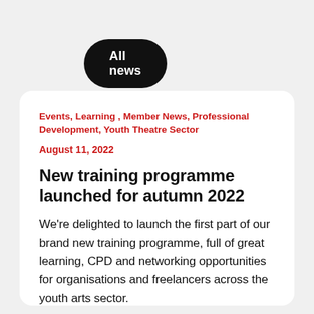All news
Events, Learning, Member News, Professional Development, Youth Theatre Sector
August 11, 2022
New training programme launched for autumn 2022
We're delighted to launch the first part of our brand new training programme, full of great learning, CPD and networking opportunities for organisations and freelancers across the youth arts sector.